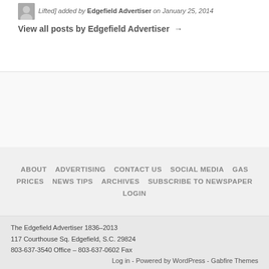Lifted] added by Edgefield Advertiser on January 25, 2014
View all posts by Edgefield Advertiser →
ABOUT   ADVERTISING   CONTACT US   SOCIAL MEDIA   GAS PRICES   NEWS TIPS   ARCHIVES   SUBSCRIBE TO NEWSPAPER   LOGIN
The Edgefield Advertiser 1836–2013
117 Courthouse Sq. Edgefield, S.C. 29824
803-637-3540 Office – 803-637-0602 Fax
Log in - Powered by WordPress - Gabfire Themes